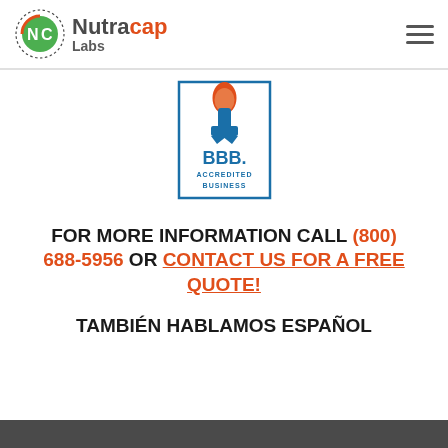Nutracap Labs
[Figure (logo): BBB Accredited Business seal logo — blue torch and ribbon with 'BBB. ACCREDITED BUSINESS' text]
FOR MORE INFORMATION CALL (800) 688-5956 OR CONTACT US FOR A FREE QUOTE!
TAMBIÉN HABLAMOS ESPAÑOL